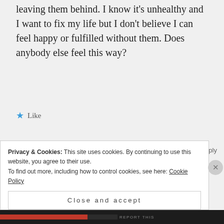leaving them behind. I know it's unhealthy and I want to fix my life but I don't believe I can feel happy or fulfilled without them. Does anybody else feel this way?
★ Like
LOLA says:
July 8, 2018 at 12:28 pm
Omg I always thought that I just need to
Privacy & Cookies: This site uses cookies. By continuing to use this website, you agree to their use. To find out more, including how to control cookies, see here: Cookie Policy
Close and accept